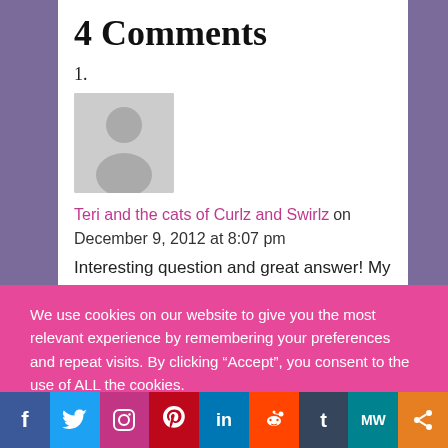4 Comments
1.
[Figure (illustration): Grey avatar placeholder image with silhouette of a person]
Teri and the cats of Curlz and Swirlz on December 9, 2012 at 8:07 pm
Interesting question and great answer! My Coco has a stress behavior (gently biting and holding on to you
We use cookies on our website to give you the most relevant experience by remembering your preferences and repeat visits. By clicking “Accept”, you consent to the use of ALL the cookies.
Cookie settings   ACCEPT